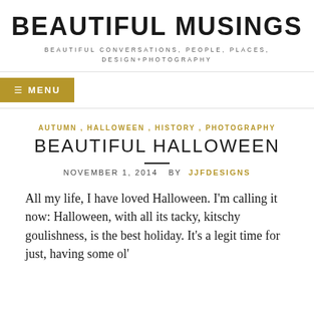BEAUTIFUL MUSINGS
BEAUTIFUL CONVERSATIONS, PEOPLE, PLACES, DESIGN+PHOTOGRAPHY
≡ MENU
AUTUMN , HALLOWEEN , HISTORY , PHOTOGRAPHY
BEAUTIFUL HALLOWEEN
NOVEMBER 1, 2014  BY  JJFDESIGNS
All my life, I have loved Halloween. I'm calling it now: Halloween, with all its tacky, kitschy goulishness, is the best holiday. It's a legit time for just, having some ol'